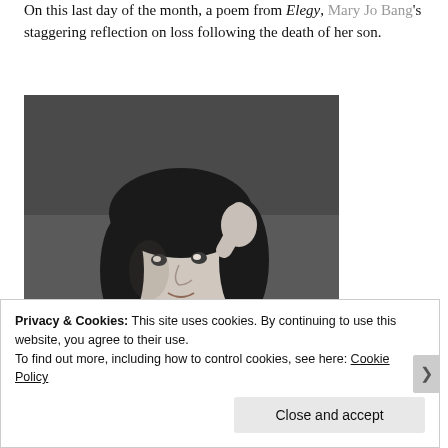On this last day of the month, a poem from Elegy, Mary Jo Bang's staggering reflection on loss following the death of her son.
[Figure (photo): Black and white portrait photograph of Mary Jo Bang, a woman with dark curly hair and bangs, wearing a black top, with one hand raised to her head.]
Privacy & Cookies: This site uses cookies. By continuing to use this website, you agree to their use. To find out more, including how to control cookies, see here: Cookie Policy